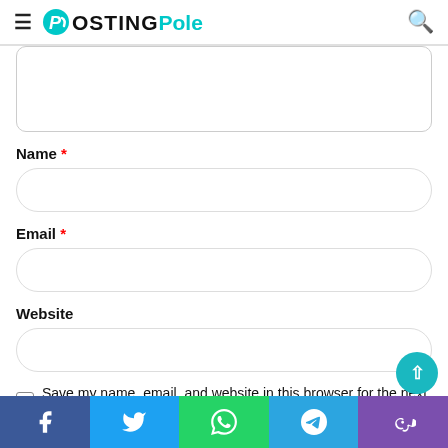PostingPole
[Figure (screenshot): Comment form with Name, Email, Website fields and a Save checkbox]
Name *
Email *
Website
Save my name, email, and website in this browser for the next time I